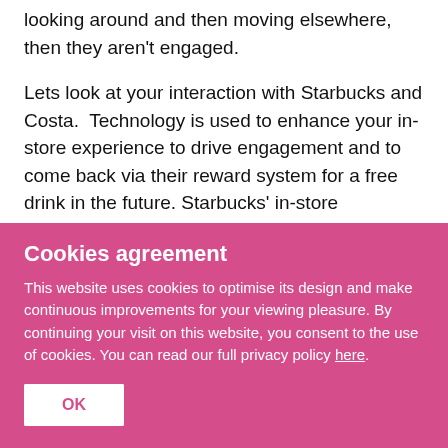looking around and then moving elsewhere, then they aren't engaged.

Lets look at your interaction with Starbucks and Costa.  Technology is used to enhance your in-store experience to drive engagement and to come back via their reward system for a free drink in the future. Starbucks' in-store experience is a huge appeal.
Cookies agreement
This website uses cookies to optimise its design and make continuous improvements for your viewing pleasure. By continuing your visit on this website, you consent to the use of cookies. You can read our full privacy policy here.